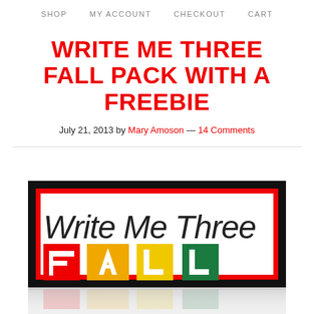SHOP   MY ACCOUNT   CHECKOUT   CART
WRITE ME THREE FALL PACK WITH A FREEBIE
July 21, 2013 by Mary Amoson — 14 Comments
[Figure (illustration): Write Me Three Fall Pack product image showing colorful block letters spelling FALL on a black and red bordered white background, with a reflection below]